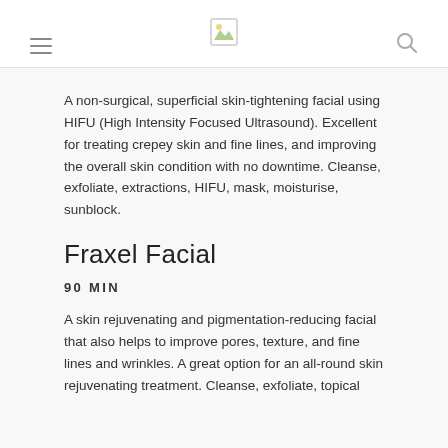A non-surgical, superficial skin-tightening facial using HIFU (High Intensity Focused Ultrasound). Excellent for treating crepey skin and fine lines, and improving the overall skin condition with no downtime. Cleanse, exfoliate, extractions, HIFU, mask, moisturise, sunblock.
Fraxel Facial
90 MIN
A skin rejuvenating and pigmentation-reducing facial that also helps to improve pores, texture, and fine lines and wrinkles. A great option for an all-round skin rejuvenating treatment. Cleanse, exfoliate, topical